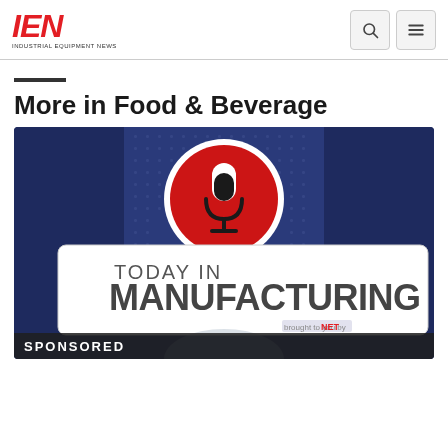IEN INDUSTRIAL EQUIPMENT NEWS
More in Food & Beverage
[Figure (illustration): Podcast logo graphic: 'Today in Manufacturing' podcast thumbnail with a microphone icon in a red circle on a dark navy blue background, with 'TODAY IN MANUFACTURING' text in bold, and 'brought to you by ManufacturingNet' branding in the lower right.]
SPONSORED